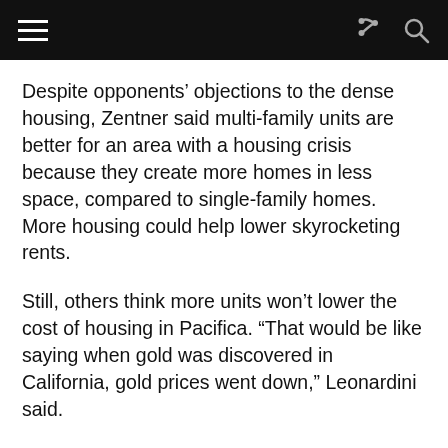[navigation bar with hamburger menu, share icon, and search icon]
Despite opponents’ objections to the dense housing, Zentner said multi-family units are better for an area with a housing crisis because they create more homes in less space, compared to single-family homes. More housing could help lower skyrocketing rents.
Still, others think more units won’t lower the cost of housing in Pacifica. “That would be like saying when gold was discovered in California, gold prices went down,” Leonardini said.
The campaign supporting Measure W, backed by the developer, has spent $728,077.86, according to campaign finance disclosure statements. The city clerk does not have finance disclosure statements for the